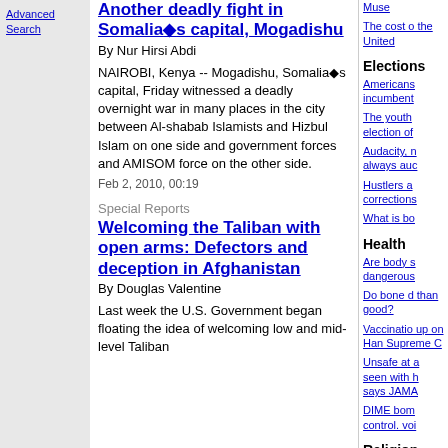Advanced Search
Another deadly fight in Somalia◆s capital, Mogadishu
By Nur Hirsi Abdi
NAIROBI, Kenya -- Mogadishu, Somalia◆s capital, Friday witnessed a deadly overnight war in many places in the city between Al-shabab Islamists and Hizbul Islam on one side and government forces and AMISOM force on the other side.
Feb 2, 2010, 00:19
Special Reports
Welcoming the Taliban with open arms: Defectors and deception in Afghanistan
By Douglas Valentine
Last week the U.S. Government began floating the idea of welcoming low and mid-level Taliban
Elections
Americans incumbent
The youth election of
Audacity, n always auc
Hustlers a corrections
What is bo
Health
Are body s dangerous
Do bone d than good?
Vaccinatio up on Han Supreme C
Unsafe at a seen with h says JAMA
DIME bom control. voi
Religion
Another Ba Iraqi Christ